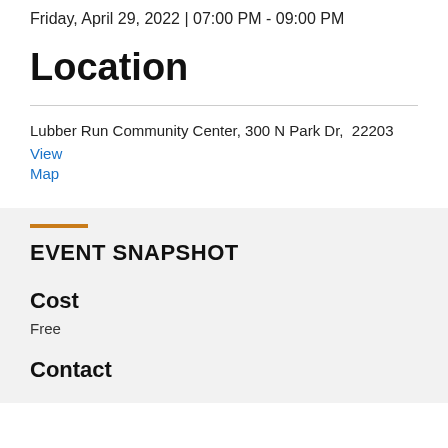Friday, April 29, 2022 | 07:00 PM - 09:00 PM
Location
Lubber Run Community Center, 300 N Park Dr,  22203  View Map
EVENT SNAPSHOT
Cost
Free
Contact